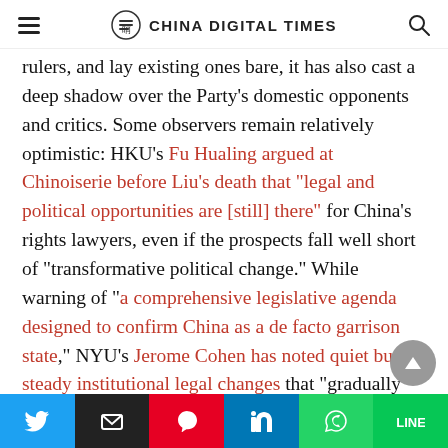CHINA DIGITAL TIMES
rulers, and lay existing ones bare, it has also cast a deep shadow over the Party's domestic opponents and critics. Some observers remain relatively optimistic: HKU's Fu Hualing argued at Chinoiserie before Liu's death that "legal and political opportunities are [still] there" for China's rights lawyers, even if the prospects fall well short of "transformative political change." While warning of "a comprehensive legislative agenda designed to confirm China as a de facto garrison state," NYU's Jerome Cohen has noted quiet but steady institutional legal changes that "gradually improve procedures in ordinary criminal cases and lay the groundwork for more comprehensive reforms to occur